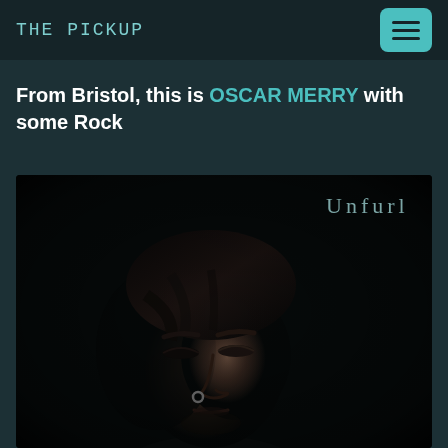THE PICKUP
From Bristol, this is OSCAR MERRY with some Rock
[Figure (photo): Album cover for 'Unfurl' by Oscar Merry showing a close-up portrait of a young man with dark hair, eyes closed, with a nose ring, shot in very dark/moody low-key lighting. The word 'Unfurl' appears in the upper right in light teal/grey serif text.]